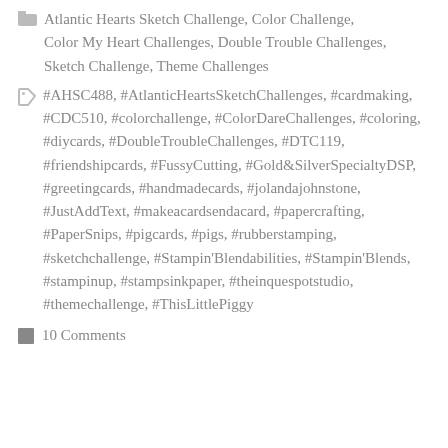Atlantic Hearts Sketch Challenge, Color Challenge, Color My Heart Challenges, Double Trouble Challenges, Sketch Challenge, Theme Challenges
#AHSC488, #AtlanticHeartsSketchChallenges, #cardmaking, #CDC510, #colorchallenge, #ColorDareChallenges, #coloring, #diycards, #DoubleTroubleChallenges, #DTC119, #friendshipcards, #FussyCutting, #Gold&SilverSpecialtyDSP, #greetingcards, #handmadecards, #jolandajohnstone, #JustAddText, #makeacardsendacard, #papercrafting, #PaperSnips, #pigcards, #pigs, #rubberstamping, #sketchchallenge, #Stampin'Blendabilities, #Stampin'Blends, #stampinup, #stampsinkpaper, #theinquespotstudio, #themechallenge, #ThisLittlePiggy
10 Comments